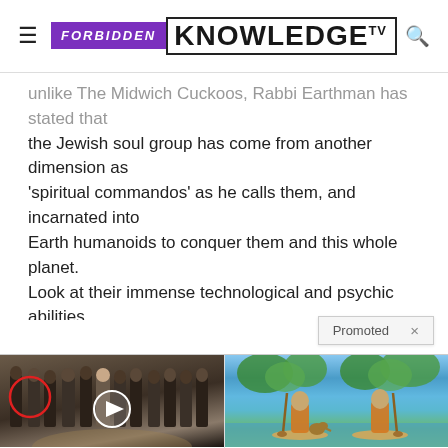FORBIDDEN KNOWLEDGE TV
unlike The Midwich Cuckoos, Rabbi Earthman has stated that the Jewish soul group has come from another dimension as 'spiritual commandos' as he calls them, and incarnated into Earth humanoids to conquer them and this whole planet. Look at their immense technological and psychic abilities, the atomic weapons they patented, their electronic surveillance capabilities like the Israeli Talpi
Promoted ×
[Figure (photo): Group photo at CIA headquarters with red circle highlighting one person and a video play button overlay]
Biden Probably Wants This Video Destroyed — Massive Currency Upheaval Has Started
Watch The Video
[Figure (illustration): Two people paddleboarding with a dog on a lake, illustrated style]
This Simple Strategy Could Protect Your Retirement Income From Rising Interest Rates
Find Out More